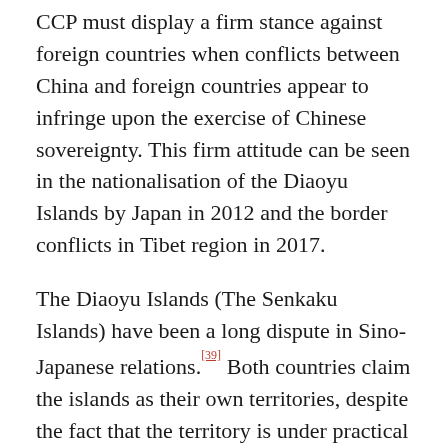CCP must display a firm stance against foreign countries when conflicts between China and foreign countries appear to infringe upon the exercise of Chinese sovereignty. This firm attitude can be seen in the nationalisation of the Diaoyu Islands by Japan in 2012 and the border conflicts in Tibet region in 2017.
The Diaoyu Islands (The Senkaku Islands) have been a long dispute in Sino-Japanese relations.[39] Both countries claim the islands as their own territories, despite the fact that the territory is under practical control of Japan. Then Prime Minister Yoshihiko Noda announced his plan to nationalise the islands. The nationalisation led to large-scale demonstrations in China, resulting in damages of property worth hundreds of millions of dollars to Japanese owned stores and factories. Beijing even initiated military actions around the islands, including the regular dispatch of Maritime Surveillance Agency (MSA) ships in the surrounding